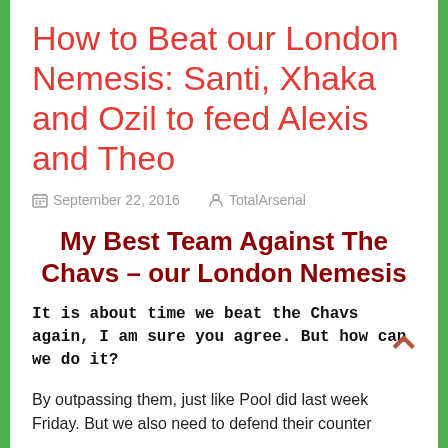How to Beat our London Nemesis: Santi, Xhaka and Ozil to feed Alexis and Theo
September 22, 2016   TotalArsenal
My Best Team Against The Chavs – our London Nemesis
It is about time we beat the Chavs again, I am sure you agree. But how can we do it?
By outpassing them, just like Pool did last week Friday. But we also need to defend their counter